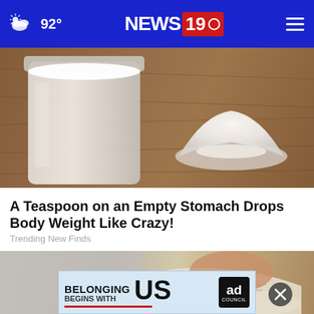92° NEWS 19
[Figure (photo): A jar of white powder (sugar or supplement) with a heap of white powder beside it on a wooden surface]
A Teaspoon on an Empty Stomach Drops Body Weight Like Crazy!
Trending New Finds
[Figure (photo): Close-up of a person's foot wearing a white and tan sneaker/shoe, with an X close button overlay and a 'Belonging Begins With US' Ad Council banner advertisement]